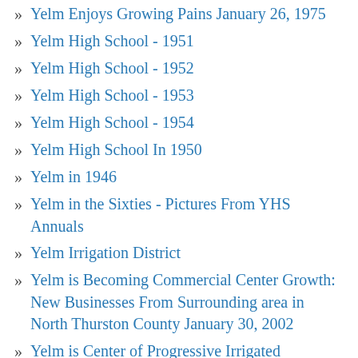Yelm Enjoys Growing Pains January 26, 1975
Yelm High School - 1951
Yelm High School - 1952
Yelm High School - 1953
Yelm High School - 1954
Yelm High School In 1950
Yelm in 1946
Yelm in the Sixties - Pictures From YHS Annuals
Yelm Irrigation District
Yelm is Becoming Commercial Center Growth: New Businesses From Surrounding area in North Thurston County January 30, 2002
Yelm is Center of Progressive Irrigated Agricultural District